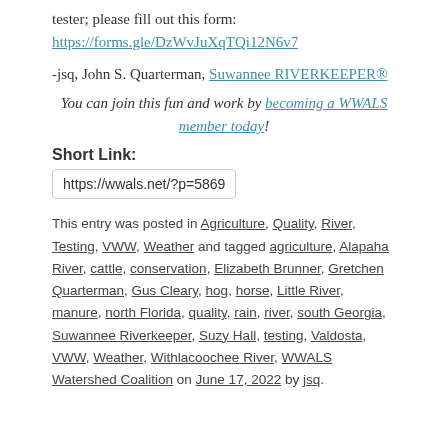tester; please fill out this form: https://forms.gle/DzWvJuXqTQi12N6v7
-jsq, John S. Quarterman, Suwannee RIVERKEEPER®
You can join this fun and work by becoming a WWALS member today!
Short Link:
https://wwals.net/?p=5869
This entry was posted in Agriculture, Quality, River, Testing, VWW, Weather and tagged agriculture, Alapaha River, cattle, conservation, Elizabeth Brunner, Gretchen Quarterman, Gus Cleary, hog, horse, Little River, manure, north Florida, quality, rain, river, south Georgia, Suwannee Riverkeeper, Suzy Hall, testing, Valdosta, VWW, Weather, Withlacoochee River, WWALS Watershed Coalition on June 17, 2022 by jsq.